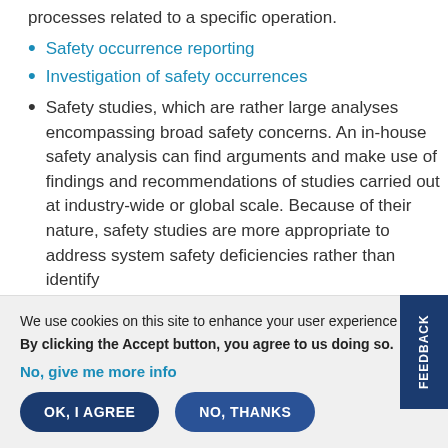processes related to a specific operation.
Safety occurrence reporting
Investigation of safety occurrences
Safety studies, which are rather large analyses encompassing broad safety concerns. An in-house safety analysis can find arguments and make use of findings and recommendations of studies carried out at industry-wide or global scale. Because of their nature, safety studies are more appropriate to address system safety deficiencies rather than identify
We use cookies on this site to enhance your user experience
By clicking the Accept button, you agree to us doing so.
No, give me more info
OK, I AGREE  NO, THANKS